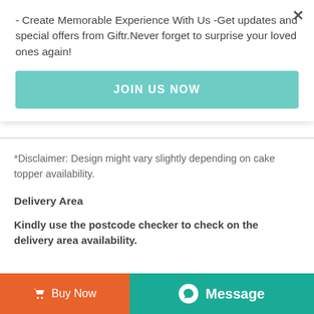- Create Memorable Experience With Us -Get updates and special offers from Giftr.Never forget to surprise your loved ones again!
JOIN US NOW
*Disclaimer: Design might vary slightly depending on cake topper availability.
Delivery Area
Kindly use the postcode checker to check on the delivery area availability.
Buy Now
Message